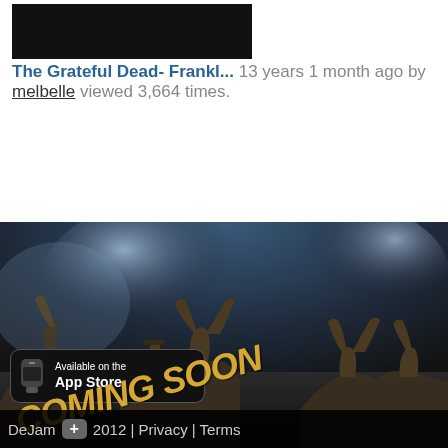[Figure (screenshot): Black thumbnail image of a video]
The Grateful Dead- Frankl... 13 years 1 month ago by melbelle viewed 3,664 times.
[Figure (illustration): Concert crowd silhouettes against a blue tie-dye smoky background. An App Store badge and 'COMING SOON' text overlay are visible at the bottom.]
DeJam + 2012 | Privacy | Terms